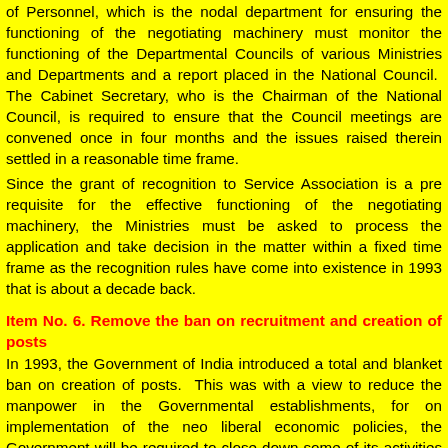of Personnel, which is the nodal department for ensuring the functioning of the negotiating machinery must monitor the functioning of the Departmental Councils of various Ministries and Departments and a report placed in the National Council.  The Cabinet Secretary, who is the Chairman of the National Council, is required to ensure that the Council meetings are convened once in four months and the issues raised therein settled in a reasonable time frame.
Since the grant of recognition to Service Association is a pre requisite for the effective functioning of the negotiating machinery, the Ministries must be asked to process the application and take decision in the matter within a fixed time frame as the recognition rules have come into existence in 1993 that is about a decade back.
Item No. 6. Remove the ban on recruitment and creation of posts
In 1993, the Government of India introduced a total and blanket ban on creation of posts.  This was with a view to reduce the manpower in the Governmental establishments, for on implementation of the neo liberal economic policies, the Government will be required to close down some of its activities and some others to be shifted to the private domain. In 2001, the GOI  issued an executive instruction modifying the complete ban on recruitment that was in vogue whereby various departments, if they so desire, resort to recruit personnel to fill up the  existing vacancies, provided they abolish 2/3rd of such vacancies.  In other words, the concerned heads of